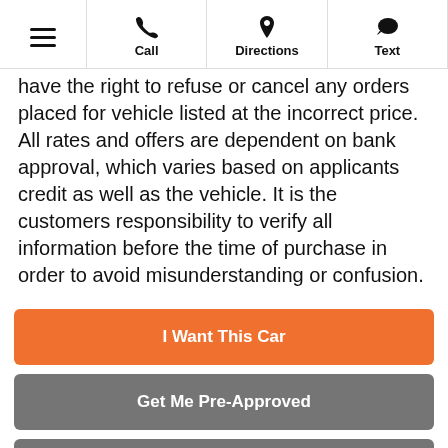Menu | Call | Directions | Text
have the right to refuse or cancel any orders placed for vehicle listed at the incorrect price. All rates and offers are dependent on bank approval, which varies based on applicants credit as well as the vehicle. It is the customers responsibility to verify all information before the time of purchase in order to avoid misunderstanding or confusion.
I Want This Car
Get Me Pre-Approved
Check Availability
Text Now